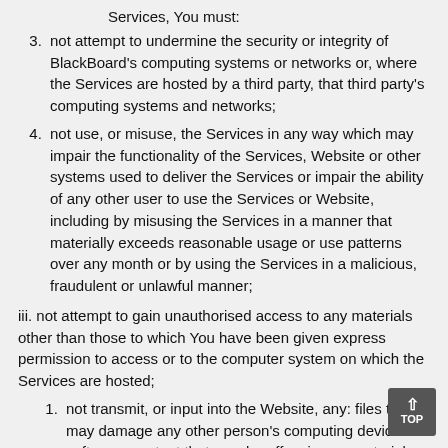Services, You must:
3. not attempt to undermine the security or integrity of BlackBoard’s computing systems or networks or, where the Services are hosted by a third party, that third party’s computing systems and networks;
4. not use, or misuse, the Services in any way which may impair the functionality of the Services, Website or other systems used to deliver the Services or impair the ability of any other user to use the Services or Website, including by misusing the Services in a manner that materially exceeds reasonable usage or use patterns over any month or by using the Services in a malicious, fraudulent or unlawful manner;
iii. not attempt to gain unauthorised access to any materials other than those to which You have been given express permission to access or to the computer system on which the Services are hosted;
1. not transmit, or input into the Website, any: files that may damage any other person’s computing devices or software; content that may be offensive, or material or Data in violation of any law (including Data or other material protected by